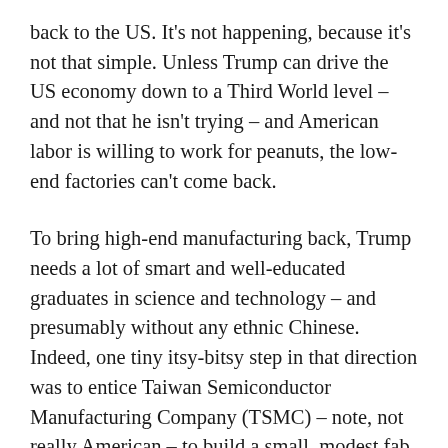back to the US. It's not happening, because it's not that simple. Unless Trump can drive the US economy down to a Third World level – and not that he isn't trying – and American labor is willing to work for peanuts, the low-end factories can't come back.
To bring high-end manufacturing back, Trump needs a lot of smart and well-educated graduates in science and technology – and presumably without any ethnic Chinese. Indeed, one tiny itsy-bitsy step in that direction was to entice Taiwan Semiconductor Manufacturing Company (TSMC) – note, not really American – to build a small, modest fab in Arizona.
Now, perhaps the reader can appreciate why the International Monetary Fund expects the US